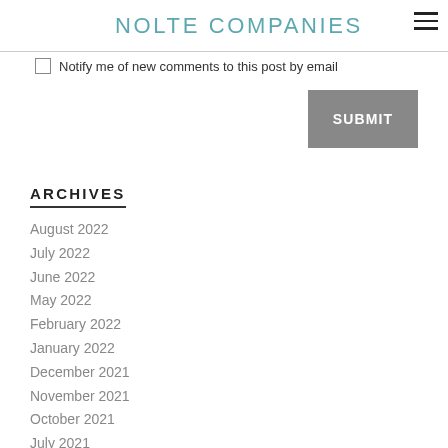NOLTE COMPANIES
Notify me of new comments to this post by email
SUBMIT
ARCHIVES
August 2022
July 2022
June 2022
May 2022
February 2022
January 2022
December 2021
November 2021
October 2021
July 2021